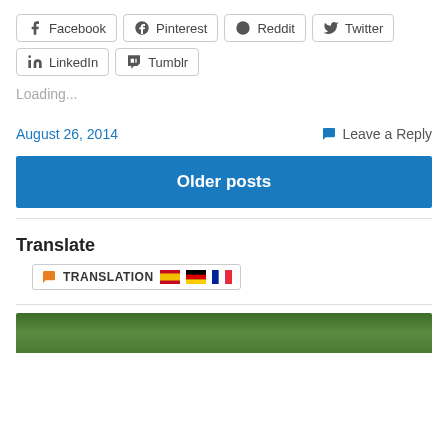[Figure (other): Row of social media share buttons: Facebook, Pinterest, Reddit, Twitter, LinkedIn, Tumblr]
Loading...
August 26, 2014    Leave a Reply
Older posts
Translate
[Figure (other): Translation widget showing orange speech bubble icon, TRANSLATION text, and Spanish, German, French flag icons]
[Figure (photo): Partial photo of green foliage/trees at bottom of page]